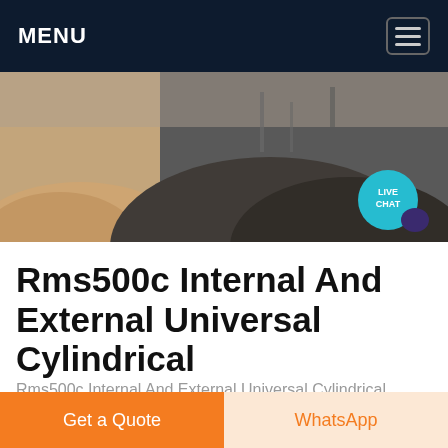MENU
[Figure (photo): Hero banner image showing piles of ground material or ore/sand in an outdoor industrial setting, black and white tones with sandy/orange left area. A 'LIVE CHAT' bubble is overlaid in the top right.]
Rms500c Internal And External Universal Cylindrical
Rms500c Internal And External Universal Cylindrical Grinding Machine Price Find Complete Details about Rms500c Internal And External Universal Cylindrical Grinding Machine Price Cylindrical Grinding Machine Universal Cylindrical Grinding Machine Cylindrical Grinding Machine Price from Grinding Machine Supplier...